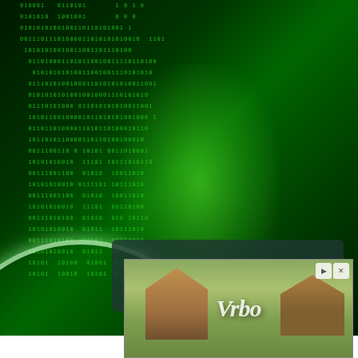[Figure (illustration): MIT Management Executive Education advertisement banner showing binary code pattern (green 0s and 1s) on dark background with bright green glow effect and a magnifying glass visual element. A dark card overlay displays the MIT Management Executive Education logo with white text.]
[Figure (illustration): Vrbo vacation rental advertisement banner showing a blurred suburban house image with the Vrbo logo in white italic text overlaid in the center. Ad controls (play and close buttons) are visible in the top right corner.]